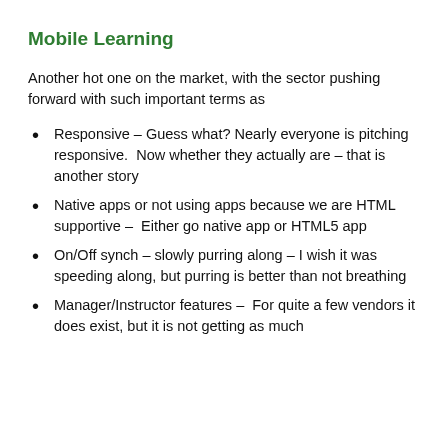Mobile Learning
Another hot one on the market, with the sector pushing forward with such important terms as
Responsive – Guess what? Nearly everyone is pitching responsive.  Now whether they actually are – that is another story
Native apps or not using apps because we are HTML supportive –  Either go native app or HTML5 app
On/Off synch – slowly purring along – I wish it was speeding along, but purring is better than not breathing
Manager/Instructor features –  For quite a few vendors it does exist, but it is not getting as much